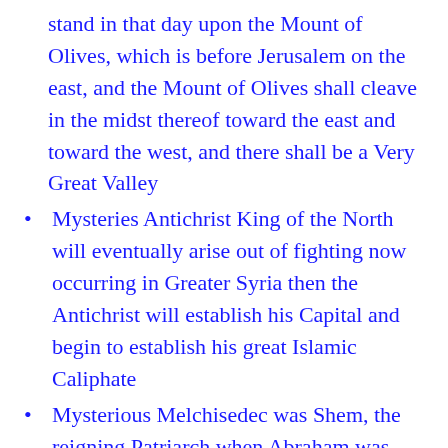stand in that day upon the Mount of Olives, which is before Jerusalem on the east, and the Mount of Olives shall cleave in the midst thereof toward the east and toward the west, and there shall be a Very Great Valley
Mysteries Antichrist King of the North will eventually arise out of fighting now occurring in Greater Syria then the Antichrist will establish his Capital and begin to establish his great Islamic Caliphate
Mysterious Melchisedec was Shem, the reigning Patriarch when Abraham was born, and from whom Abraham descended
Mystery of Iniquity
Name Number Mark of the Beast And that no man might buy or sell, save he that had